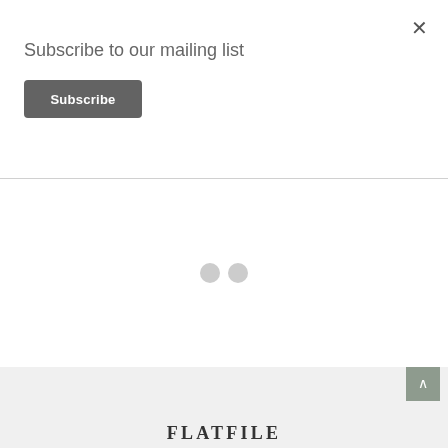Subscribe to our mailing list
Subscribe
[Figure (other): Two light gray loading indicator dots centered in a white content area]
FLATFILE